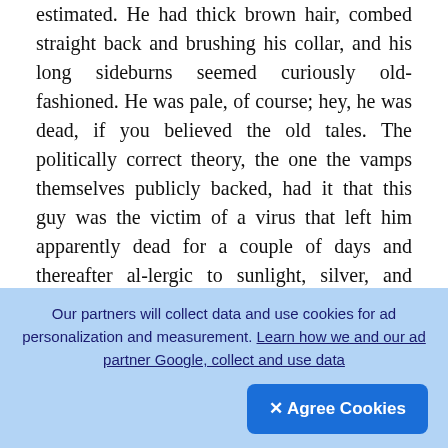estimated. He had thick brown hair, combed straight back and brushing his collar, and his long sideburns seemed curiously old-fashioned. He was pale, of course; hey, he was dead, if you believed the old tales. The politically correct theory, the one the vamps themselves publicly backed, had it that this guy was the victim of a virus that left him apparently dead for a couple of days and thereafter al-lergic to sunlight, silver, and garlic. The details depended on which newspaper you read. They were all full of vampire stuff these days. Anyway, his lips were lovely, sharply sculpted, and he arched dark brows. His nose swooped down out of that arch, like a prince's in a Byzantine mosaic. When he finally looked up, I saw his eyes were even
[Figure (other): Upload/add button icon (circle with up arrow) on dark rounded square background]
Our partners will collect data and use cookies for ad personalization and measurement. Learn how we and our ad partner Google, collect and use data
✕ Agree Cookies